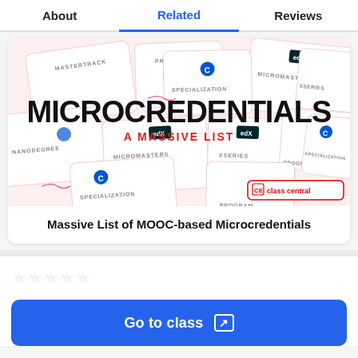About | Related | Reviews
[Figure (illustration): Illustration showing overlapping cards with various microcredential types labeled: MASTERTRACK, PROGRAM, MICROMASTERS, NANODEGREE, SPECIALIZATION, XSERIES with edX logos, and the central text 'MICROCREDENTIALS - A MASSIVE LIST' in bold black with red subtitle, plus Class Central logo in bottom-right corner.]
Massive List of MOOC-based Microcredentials
Go to class ↗